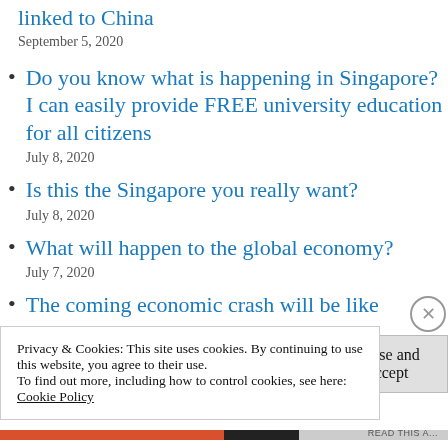linked to China
September 5, 2020
Do you know what is happening in Singapore? I can easily provide FREE university education for all citizens
July 8, 2020
Is this the Singapore you really want?
July 8, 2020
What will happen to the global economy?
July 7, 2020
The coming economic crash will be like
Privacy & Cookies: This site uses cookies. By continuing to use this website, you agree to their use.
To find out more, including how to control cookies, see here:
Cookie Policy
Close and accept